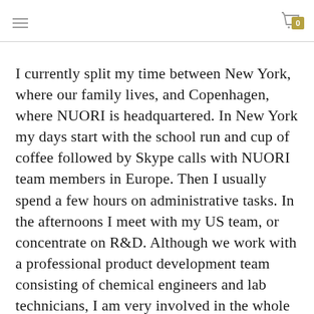≡  [cart icon] 0
I currently split my time between New York, where our family lives, and Copenhagen, where NUORI is headquartered. In New York my days start with the school run and cup of coffee followed by Skype calls with NUORI team members in Europe. Then I usually spend a few hours on administrative tasks. In the afternoons I meet with my US team, or concentrate on R&D. Although we work with a professional product development team consisting of chemical engineers and lab technicians, I am very involved in the whole